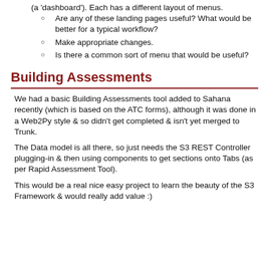(a ‘dashboard’). Each has a different layout of menus.
Are any of these landing pages useful? What would be better for a typical workflow?
Make appropriate changes.
Is there a common sort of menu that would be useful?
Building Assessments
We had a basic Building Assessments tool added to Sahana recently (which is based on the ATC forms), although it was done in a Web2Py style & so didn't get completed & isn't yet merged to Trunk.
The Data model is all there, so just needs the S3 REST Controller plugging-in & then using components to get sections onto Tabs (as per Rapid Assessment Tool).
This would be a real nice easy project to learn the beauty of the S3 Framework & would really add value :)